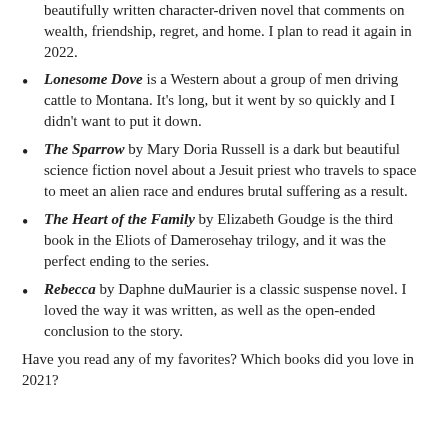beautifully written character-driven novel that comments on wealth, friendship, regret, and home. I plan to read it again in 2022.
Lonesome Dove is a Western about a group of men driving cattle to Montana. It's long, but it went by so quickly and I didn't want to put it down.
The Sparrow by Mary Doria Russell is a dark but beautiful science fiction novel about a Jesuit priest who travels to space to meet an alien race and endures brutal suffering as a result.
The Heart of the Family by Elizabeth Goudge is the third book in the Eliots of Damerosehay trilogy, and it was the perfect ending to the series.
Rebecca by Daphne duMaurier is a classic suspense novel. I loved the way it was written, as well as the open-ended conclusion to the story.
Have you read any of my favorites? Which books did you love in 2021?